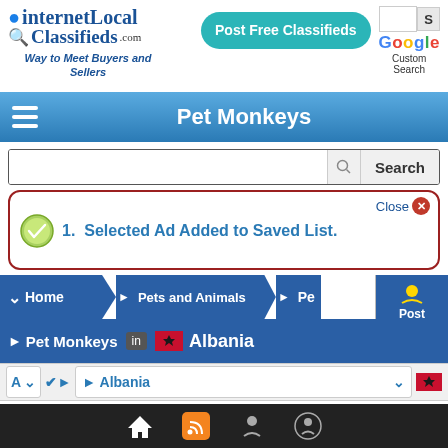[Figure (screenshot): internetLocalClassifieds.com logo with globe icon and tagline 'Way to Meet Buyers and Sellers']
[Figure (screenshot): Post Free Classifieds teal button]
[Figure (screenshot): Google Custom Search area with multicolor Google text]
Pet Monkeys
[Figure (screenshot): Search bar with Search button]
Close  1. Selected Ad Added to Saved List.
Home ▶ Pets and Animals ▶ Pe...
▶ Pet Monkeys in Albania
A ▼  ✔ ▶  ▶ Albania ▼
Select States ▼
Footer navigation bar with home, RSS, support, and user icons